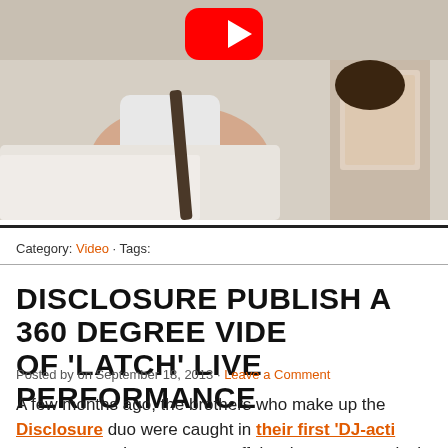[Figure (photo): YouTube video thumbnail showing two people on a bed, one reading a magazine. Red YouTube play button visible at top center.]
Category: Video · Tags:
DISCLOSURE PUBLISH A 360 DEGREE VIDEO OF 'LATCH' LIVE PERFORMANCE
Posted by on September 18, 2013 · Leave a Comment
A few months ago, the brothers who make up the Disclosure duo were caught in their first 'DJ-activity controversy'. It was a nasty affair, where apparently the organizers were to blame, with Disclosure not doing much of acting anyway, now even plugging in